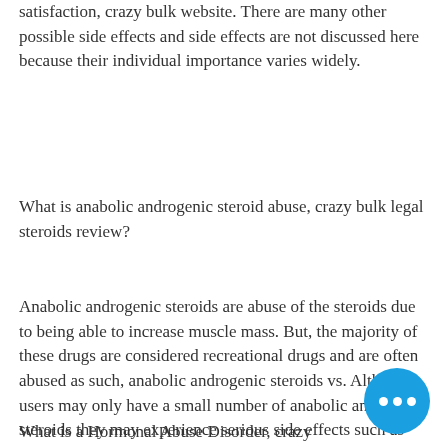satisfaction, crazy bulk website. There are many other possible side effects and side effects are not discussed here because their individual importance varies widely.
What is anabolic androgenic steroid abuse, crazy bulk legal steroids review?
Anabolic androgenic steroids are abuse of the steroids due to being able to increase muscle mass. But, the majority of these drugs are considered recreational drugs and are often abused as such, anabolic androgenic steroids vs. Although users may only have a small number of anabolic androgenic steroids they may experience serious side effects such as depression, depression, anxiety, aggression, severe headaches, skin irritation and more.
What is a Hormonal Abuse Disorder, crazy